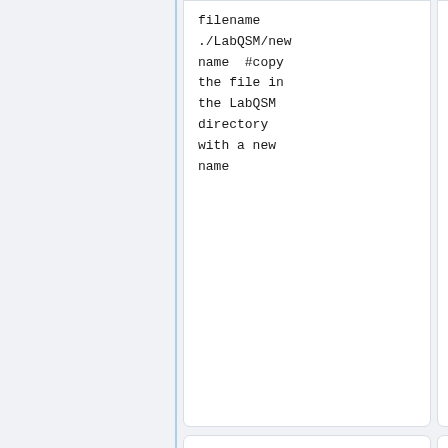filename ./LabQSM/new name  #copy the file in the LabQSM directory with a new name
filename ./LabQSM/new name  #copy the file in the LabQSM directory with a new name
$> cp -r dirname ./LabQSM/
    #copy the directory dirname and all its content in the LabQSM directory
$> cp -r dirname ./LabQSM/
    #copy the directory dirname and all its content in the LabQSM directory
$> cp -a dirname